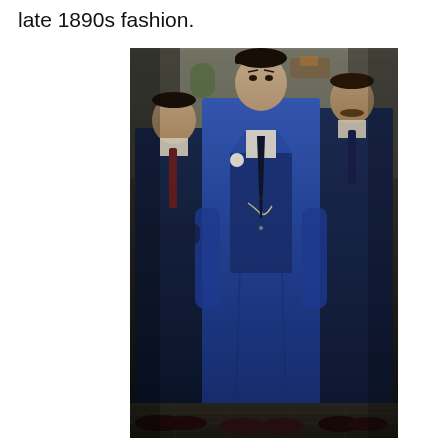late 1890s fashion.
[Figure (photo): Three men dressed in navy blue three-piece suits in late 1890s style. The central figure wears a bright navy blue suit with a white boutonniere, vest with a pocket watch chain, and dark tie. Two men flank him — one on the left in a darker suit and one on the right also in a dark suit with a mustache. All wear dress shoes. The photo has a dramatic, moody lighting suggesting a period drama setting.]